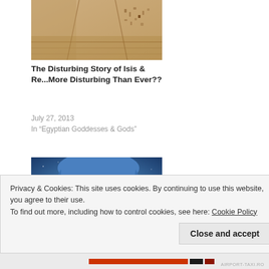[Figure (photo): Ancient Egyptian stone wall or corridor with hieroglyphics, tan/beige tones]
The Disturbing Story of Isis & Re...More Disturbing Than Ever??
July 27, 2013
In "Egyptian Goddesses & Gods"
[Figure (illustration): Blue-toned illustration/painting of a female face with Egyptian-style eye makeup and blue hair]
Is Isis a Moon Goddess or a
Privacy & Cookies: This site uses cookies. By continuing to use this website, you agree to their use.
To find out more, including how to control cookies, see here: Cookie Policy
Close and accept